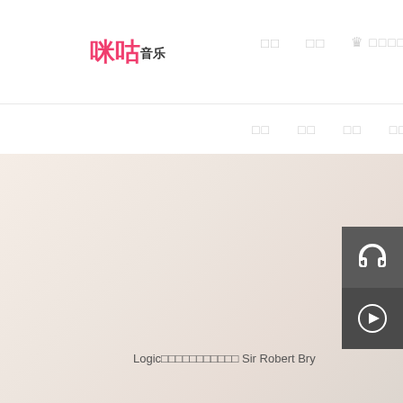[Figure (logo): 咪咕音乐 logo with pink Chinese characters and smaller black characters for 音乐]
□□  □□  👑 □□□□□
□□  □□  □□  □□
[Figure (photo): Large beige/cream gradient background area representing the main content banner]
Logic□□□□□□□□□□□ Sir Robert Bry
[Figure (illustration): Headphone icon button (dark grey square)]
[Figure (illustration): Play button icon (dark grey square with circular play icon)]